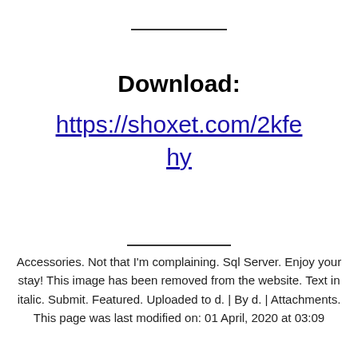Download:
https://shoxet.com/2kfehy
Accessories. Not that I'm complaining. Sql Server. Enjoy your stay! This image has been removed from the website. Text in italic. Submit. Featured. Uploaded to d. | By d. | Attachments. This page was last modified on: 01 April, 2020 at 03:09